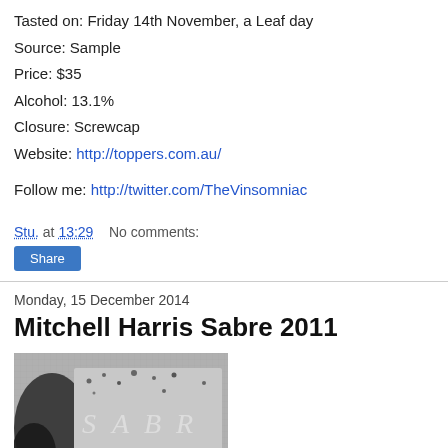Tasted on: Friday 14th November, a Leaf day
Source: Sample
Price: $35
Alcohol: 13.1%
Closure: Screwcap
Website: http://toppers.com.au/
Follow me: http://twitter.com/TheVinsomniac
Stu. at 13:29   No comments:
Share
Monday, 15 December 2014
Mitchell Harris Sabre 2011
[Figure (photo): Black and white photo of a wine bottle label showing letters S A B R]